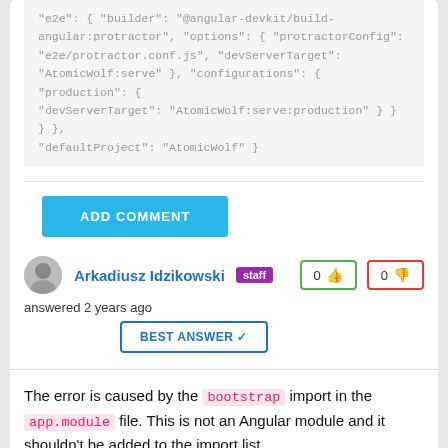"e2e": { "builder": "@angular-devkit/build-angular:protractor", "options": { "protractorConfig": "e2e/protractor.conf.js", "devServerTarget": "AtomicWolf:serve" }, "configurations": { "production": { "devServerTarget": "AtomicWolf:serve:production" } } } } }, "defaultProject": "AtomicWolf" }
ADD COMMENT
Arkadiusz Idzikowski  staff  0 👍  0 👎  answered 2 years ago  BEST ANSWER ✓
The error is caused by the bootstrap import in the app.module file. This is not an Angular module and it shouldn't be added to the import list.